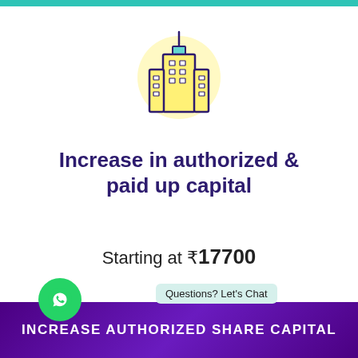[Figure (illustration): Building/skyscraper icon with yellow body and dark purple outline, blue top accent, on a light yellow circular background]
Increase in authorized & paid up capital
Starting at ₹17700
Questions? Let's Chat
Change in Capital
INCREASE AUTHORIZED SHARE CAPITAL